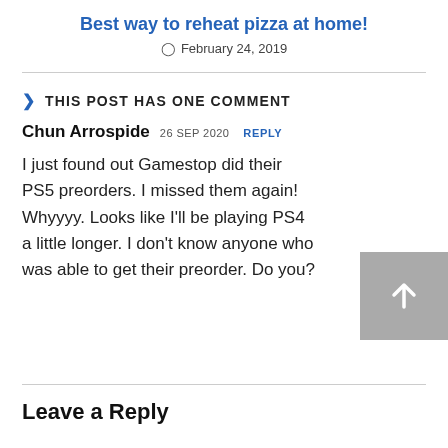Best way to reheat pizza at home!
February 24, 2019
THIS POST HAS ONE COMMENT
Chun Arrospide 26 SEP 2020 REPLY
I just found out Gamestop did their PS5 preorders. I missed them again! Whyyyy. Looks like I'll be playing PS4 a little longer. I don't know anyone who was able to get their preorder. Do you?
Leave a Reply